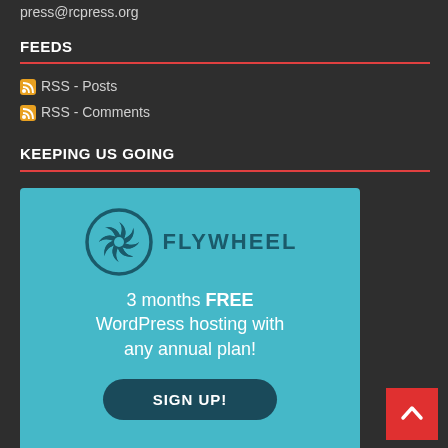press@rcpress.org
FEEDS
RSS - Posts
RSS - Comments
KEEPING US GOING
[Figure (infographic): Flywheel WordPress hosting advertisement. Teal/cyan background with Flywheel logo (circular fan/wheel icon with FLYWHEEL text). Promotional text: 3 months FREE WordPress hosting with any annual plan! SIGN UP! button in dark teal rounded rectangle.]